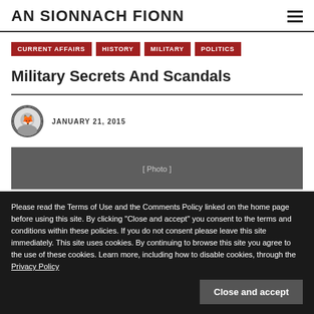AN SIONNACH FIONN
CURRENT AFFAIRS
HISTORY
MILITARY
POLITICS
Military Secrets And Scandals
JANUARY 21, 2015
[Figure (photo): Article header photo showing military/people scene, partially obscured by cookie banner]
Please read the Terms of Use and the Comments Policy linked on the home page before using this site. By clicking "Close and accept" you consent to the terms and conditions within these policies. If you do not consent please leave this site immediately. This site uses cookies. By continuing to browse this site you agree to the use of these cookies. Learn more, including how to disable cookies, through the Privacy Policy